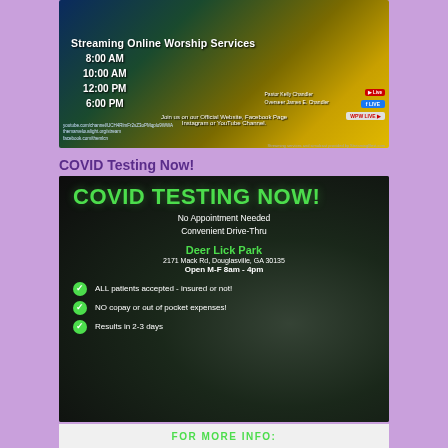[Figure (infographic): Streaming Online Worship Services banner showing service times 8:00 AM, 10:00 AM, 12:00 PM, 6:00 PM, with Pastor Kelly Chandler and Overseer James E. Chandler, and YouTube Live, Facebook Live, WPW Live logos. Text: Join us on our Official Website, Facebook Page Instagram or YouTube Channel.]
COVID Testing Now!
[Figure (infographic): COVID TESTING NOW! banner. No Appointment Needed. Convenient Drive-Thru. Deer Lick Park. 2171 Mack Rd, Douglasville, GA 30135. Open M-F 8am - 4pm. ALL patients accepted - insured or not! NO copay or out of pocket expenses! Results in 2-3 days.]
FOR MORE INFO: